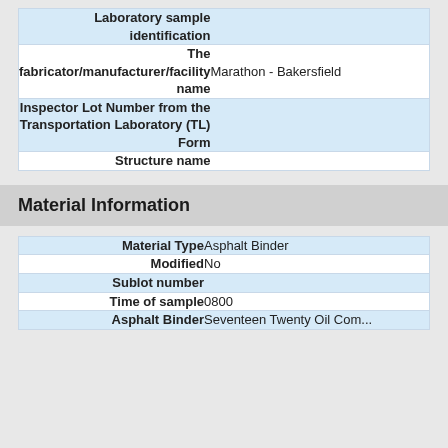| Field | Value |
| --- | --- |
| Laboratory sample identification |  |
| The fabricator/manufacturer/facility name | Marathon - Bakersfield |
| Inspector Lot Number from the Transportation Laboratory (TL) Form |  |
| Structure name |  |
Material Information
| Field | Value |
| --- | --- |
| Material Type | Asphalt Binder |
| Modified | No |
| Sublot number |  |
| Time of sample | 0800 |
| Asphalt Binder | Seventeen Twenty Oil Com... |